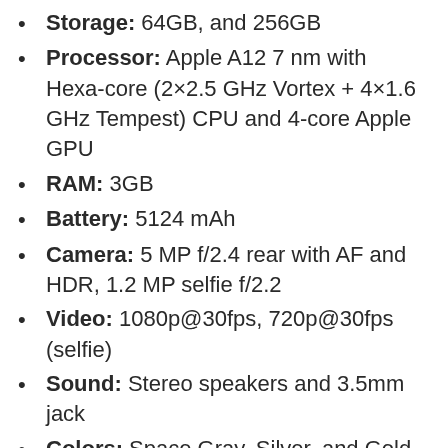Storage: 64GB, and 256GB
Processor: Apple A12 7 nm with Hexa-core (2×2.5 GHz Vortex + 4×1.6 GHz Tempest) CPU and 4-core Apple GPU
RAM: 3GB
Battery: 5124 mAh
Camera: 5 MP f/2.4 rear with AF and HDR, 1.2 MP selfie f/2.2
Video: 1080p@30fps, 720p@30fps (selfie)
Sound: Stereo speakers and 3.5mm jack
Colors: Space Gray, Silver, and Gold